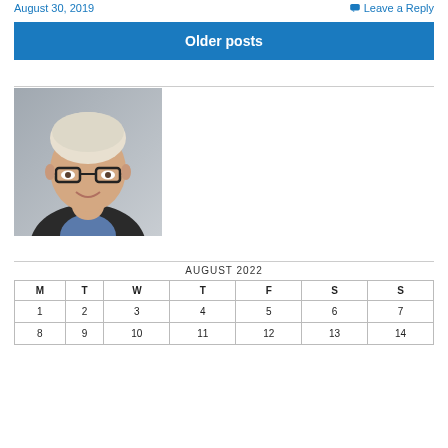August 30, 2019
Leave a Reply
Older posts
[Figure (photo): Professional headshot of a middle-aged man with white/blonde hair and glasses, wearing a dark suit jacket and blue shirt, smiling.]
| M | T | W | T | F | S | S |
| --- | --- | --- | --- | --- | --- | --- |
| 1 | 2 | 3 | 4 | 5 | 6 | 7 |
| 8 | 9 | 10 | 11 | 12 | 13 | 14 |